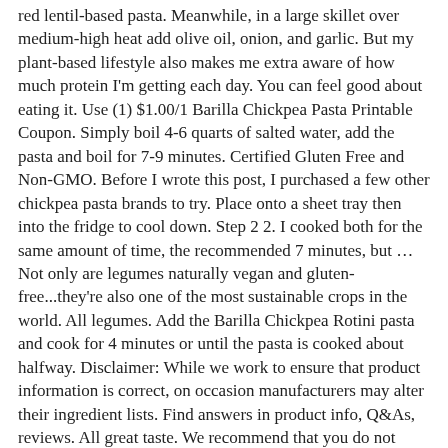red lentil-based pasta. Meanwhile, in a large skillet over medium-high heat add olive oil, onion, and garlic. But my plant-based lifestyle also makes me extra aware of how much protein I'm getting each day. You can feel good about eating it. Use (1) $1.00/1 Barilla Chickpea Pasta Printable Coupon. Simply boil 4-6 quarts of salted water, add the pasta and boil for 7-9 minutes. Certified Gluten Free and Non-GMO. Before I wrote this post, I purchased a few other chickpea pasta brands to try. Place onto a sheet tray then into the fridge to cool down. Step 2 2. I cooked both for the same amount of time, the recommended 7 minutes, but … Not only are legumes naturally vegan and gluten-free...they're also one of the most sustainable crops in the world. All legumes. Add the Barilla Chickpea Rotini pasta and cook for 4 minutes or until the pasta is cooked about halfway. Disclaimer: While we work to ensure that product information is correct, on occasion manufacturers may alter their ingredient lists. Find answers in product info, Q&As, reviews. All great taste. We recommend that you do not solely rely on the information presented and that you always read labels, warnings, and directions before using or consuming a product. Target Deal Matchup: Buy (1) Barilla Chickpea Pasta @ $2.79 Use (1) $1.00/1 Barilla Chickpea Pasta Printable Coupon Final price = … Now, if only someone could find a way to make a delicious ice cream out of chickpeas. Taste the difference! Drain the pasta, reserving 1 cup of pasta water. BARILLA Chickpea Rotini pasta has a deliciously distinctive chickpea flavor and smooth al dente